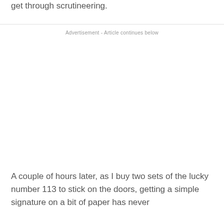get through scrutineering.
Advertisement - Article continues below
A couple of hours later, as I buy two sets of the lucky number 113 to stick on the doors, getting a simple signature on a bit of paper has never